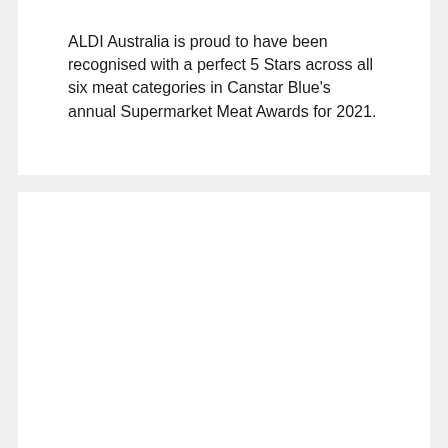[Figure (other): Row of six colored dots (blue, dark blue, red, red, orange, yellow)]
ALDI Australia is proud to have been recognised with a perfect 5 Stars across all six meat categories in Canstar Blue's annual Supermarket Meat Awards for 2021.